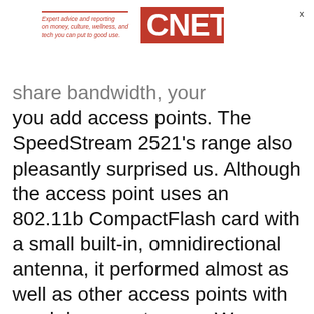Expert advice and reporting on money, culture, wellness, and tech you can put to good use. CNET
share bandwidth, your throughput will slow as you add access points. The SpeedStream 2521's range also pleasantly surprised us. Although the access point uses an 802.11b CompactFlash card with a small built-in, omnidirectional antenna, it performed almost as well as other access points with much larger antennae. We managed to maintain a connection at distances of 85 feet in our indoor testing environment. But if the range proves inadequate, just grab the access point and plug it into an outlet closer to your wireless-enabled computer.